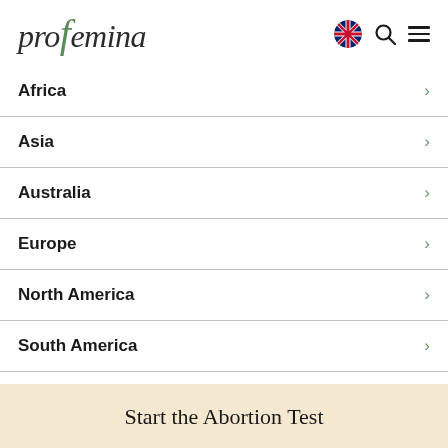profemina
Africa
Asia
Australia
Europe
North America
South America
Start the Abortion Test